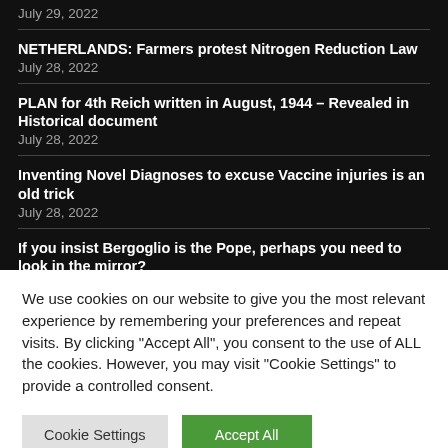July 29, 2022
NETHERLANDS: Farmers protest Nitrogen Reduction Law
July 28, 2022
PLAN for 4th Reich written in August, 1944 – Revealed in Historical document
July 28, 2022
Inventing Novel Diagnoses to excuse Vaccine injuries is an old trick
July 28, 2022
If you insist Bergoglio is the Pope, perhaps you need to look in the mirror?
July 28, 2022
We use cookies on our website to give you the most relevant experience by remembering your preferences and repeat visits. By clicking "Accept All", you consent to the use of ALL the cookies. However, you may visit "Cookie Settings" to provide a controlled consent.
Cookie Settings | Accept All